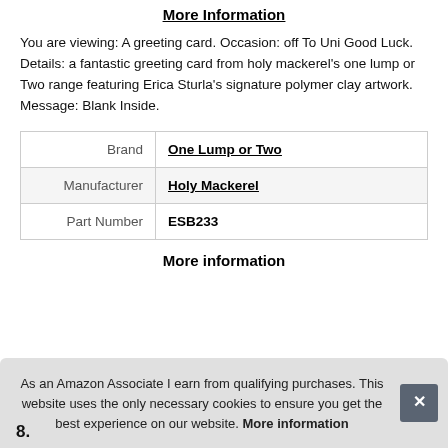More information
You are viewing: A greeting card. Occasion: off To Uni Good Luck. Details: a fantastic greeting card from holy mackerel's one lump or Two range featuring Erica Sturla's signature polymer clay artwork. Message: Blank Inside.
| Brand | One Lump or Two |
| Manufacturer | Holy Mackerel |
| Part Number | ESB233 |
More information
As an Amazon Associate I earn from qualifying purchases. This website uses the only necessary cookies to ensure you get the best experience on our website. More information
8.